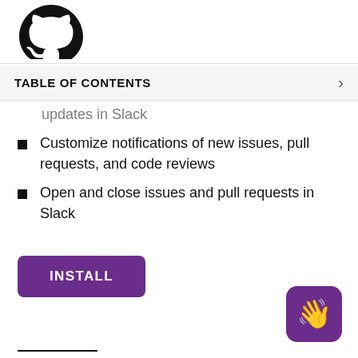[Figure (logo): GitHub logo (partial, black octocat) at top of page]
TABLE OF CONTENTS
Subscribe to repositories to get their updates in Slack
Customize notifications of new issues, pull requests, and code reviews
Open and close issues and pull requests in Slack
INSTALL
[Figure (illustration): Waving hand emoji button (purple rounded square, bottom right)]